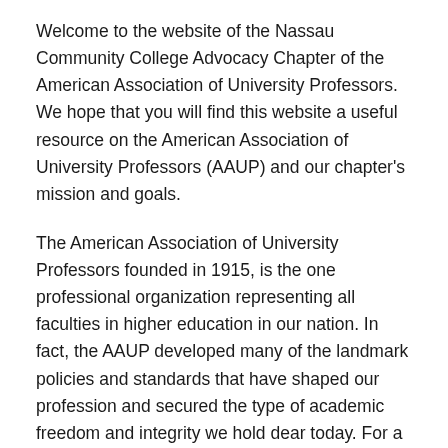Welcome to the website of the Nassau Community College Advocacy Chapter of the American Association of University Professors. We hope that you will find this website a useful resource on the American Association of University Professors (AAUP) and our chapter's mission and goals.
The American Association of University Professors founded in 1915, is the one professional organization representing all faculties in higher education in our nation. In fact, the AAUP developed many of the landmark policies and standards that have shaped our profession and secured the type of academic freedom and integrity we hold dear today. For a century, the AAUP has diligently fought to protect academic freedom and shared governance and continues to do so. The AAUP has a